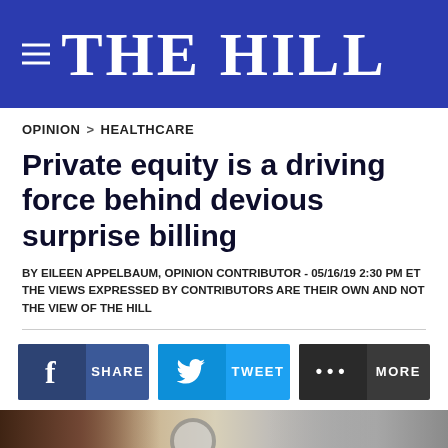THE HILL
OPINION > HEALTHCARE
Private equity is a driving force behind devious surprise billing
BY EILEEN APPELBAUM, OPINION CONTRIBUTOR - 05/16/19 2:30 PM ET
THE VIEWS EXPRESSED BY CONTRIBUTORS ARE THEIR OWN AND NOT THE VIEW OF THE HILL
[Figure (photo): Hospital/medical setting with a person and medical equipment in background]